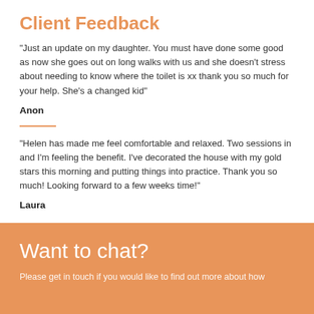Client Feedback
“Just an update on my daughter. You must have done some good as now she goes out on long walks with us and she doesn’t stress about needing to know where the toilet is xx thank you so much for your help. She’s a changed kid”
Anon
“Helen has made me feel comfortable and relaxed. Two sessions in and I’m feeling the benefit. I’ve decorated the house with my gold stars this morning and putting things into practice. Thank you so much! Looking forward to a few weeks time!”
Laura
Want to chat?
Please get in touch if you would like to find out more about how